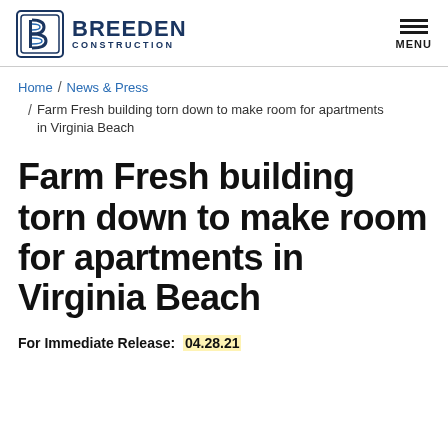BREEDEN CONSTRUCTION [logo] MENU
Home / News & Press
/ Farm Fresh building torn down to make room for apartments in Virginia Beach
Farm Fresh building torn down to make room for apartments in Virginia Beach
For Immediate Release:  04.28.21